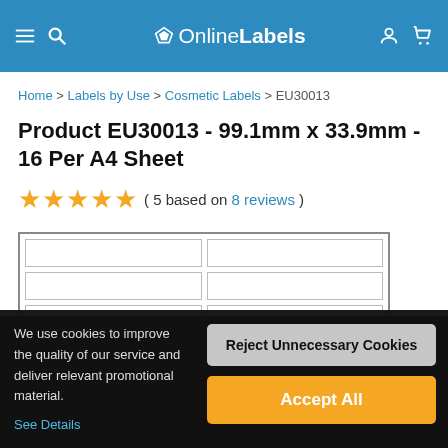≡ 🔍 ◇ OnlineLabels 👤 🛒
Home > Labels by Use > Cosmetic Labels > EU30013
Product EU30013 - 99.1mm x 33.9mm - 16 Per A4 Sheet
★★★★★ ( 5 based on 8 reviews )
[Figure (illustration): Label sheet preview showing rectangular labels arranged in a 2-column grid on A4 paper]
We use cookies to improve the quality of our service and deliver relevant promotional material. See Details
Reject Unnecessary Cookies
Accept All